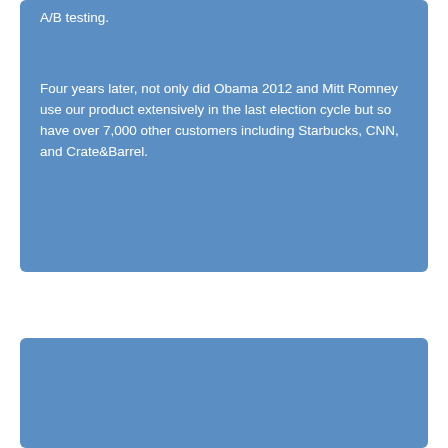A/B testing.
Four years later, not only did Obama 2012 and Mitt Romney use our product extensively in the last election cycle but so have over 7,000 other customers including Starbucks, CNN, and Crate&Barrel.